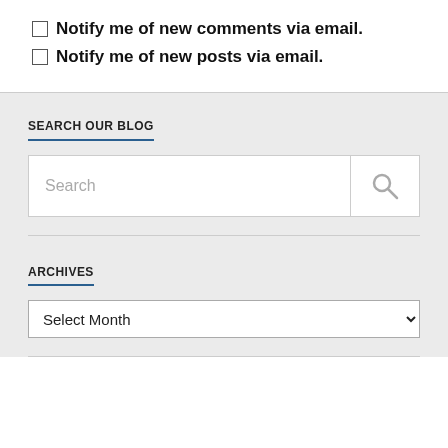Notify me of new comments via email.
Notify me of new posts via email.
SEARCH OUR BLOG
Search
ARCHIVES
Select Month